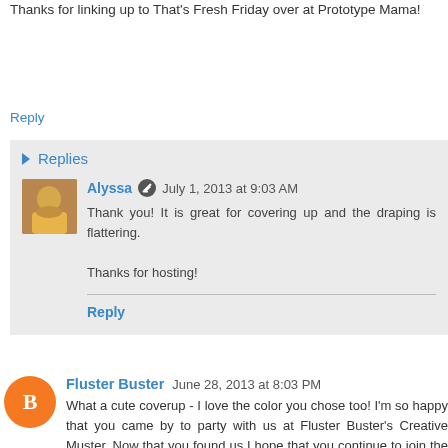Thanks for linking up to That's Fresh Friday over at Prototype Mama!
Reply
Replies
Alyssa  July 1, 2013 at 9:03 AM
Thank you! It is great for covering up and the draping is flattering.

Thanks for hosting!
Reply
Fluster Buster  June 28, 2013 at 8:03 PM
What a cute coverup - I love the color you chose too! I'm so happy that you came by to party with us at Fluster Buster's Creative Muster. Now that you found us I hope that you continue to join the party.